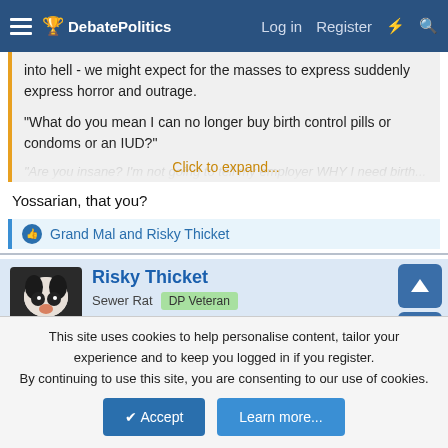DebatePolitics — Log in  Register
into hell - we might expect for the masses to express suddenly express horror and outrage.

"What do you mean I can no longer buy birth control pills or condoms or an IUD?"
Click to expand...
Yossarian, that you?
Grand Mal and Risky Thicket
Risky Thicket
Sewer Rat  DP Veteran
May 12, 2022
#8
This site uses cookies to help personalise content, tailor your experience and to keep you logged in if you register.
By continuing to use this site, you are consenting to our use of cookies.